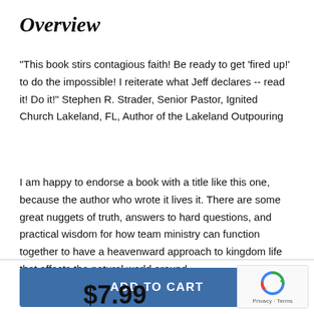Overview
"This book stirs contagious faith! Be ready to get ‘fired up!’ to do the impossible! I reiterate what Jeff declares -- read it! Do it!" Stephen R. Strader, Senior Pastor, Ignited Church Lakeland, FL, Author of the Lakeland Outpouring
I am happy to endorse a book with a title like this one, because the author who wrote it lives it. There are some great nuggets of truth, answers to hard questions, and practical wisdom for how team ministry can function together to have a heavenward approach to kingdom life that affects the natural world around
ADD TO CART
$7.99